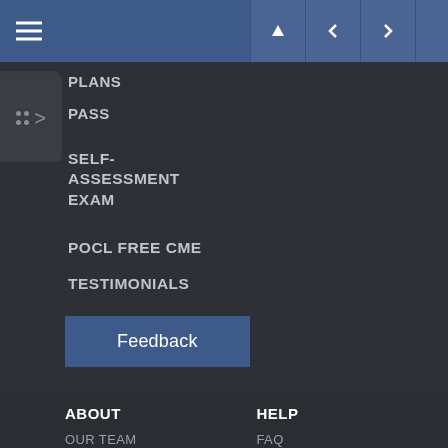[Figure (screenshot): Navigation menu interface of an educational platform showing a dark sidebar with menu items, a blue top bar with hamburger menu and navigation arrows, a Feedback button, and footer columns for ABOUT and HELP links]
PLANS
PASS
SELF-ASSESSMENT EXAM
POCL FREE CME
TESTIMONIALS
Feedback
ABOUT
OUR TEAM
COMPANY
PRIVACY POLICY
CONTACT US
HELP
FAQ
PLATFORM TUTORIAL VIDEOS
PASS TUTORIAL VIDEOS